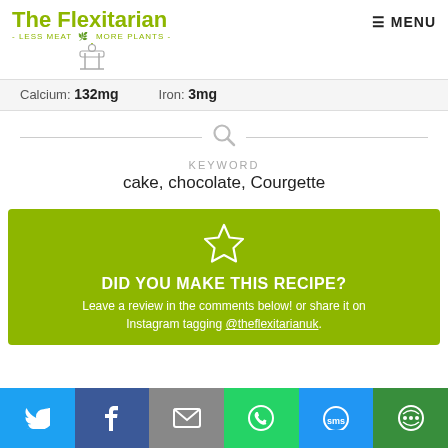The Flexitarian - LESS MEAT MORE PLANTS - MENU
Calcium: 132mg   Iron: 3mg
KEYWORD
cake, chocolate, Courgette
DID YOU MAKE THIS RECIPE? Leave a review in the comments below! or share it on Instagram tagging @theflexitarianuk.
[Figure (screenshot): Share bar with Twitter, Facebook, Email, WhatsApp, SMS, and other share icons]